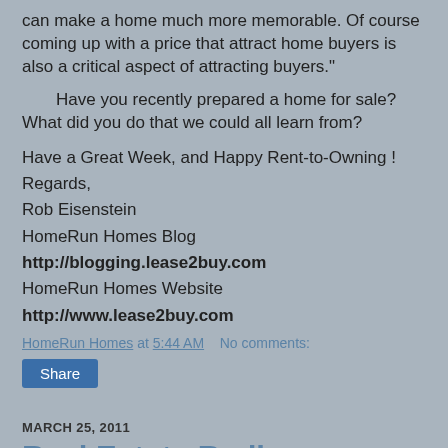can make a home much more memorable. Of course coming up with a price that attract home buyers is also a critical aspect of attracting buyers."
Have you recently prepared a home for sale? What did you do that we could all learn from?
Have a Great Week, and Happy Rent-to-Owning !
Regards,
Rob Eisenstein
HomeRun Homes Blog http://blogging.lease2buy.com
HomeRun Homes Website http://www.lease2buy.com
HomeRun Homes at 5:44 AM   No comments:
Share
MARCH 25, 2011
Real Estate Radio - Philadelphia WFYL 1180AM